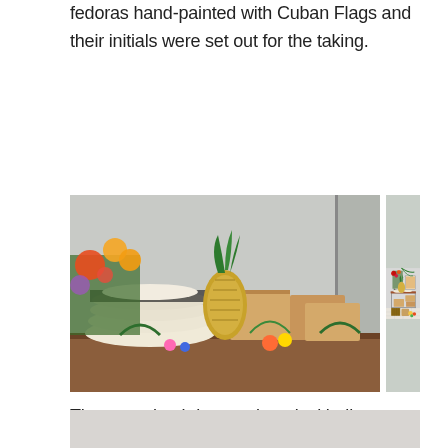fedoras hand-painted with Cuban Flags and their initials were set out for the taking.
[Figure (photo): Two side-by-side photos of a party setup table with straw fedora hats, tropical flowers, pineapple decor, gift boxes, and colorful fruits and decorations on a wooden table against a light backdrop.]
The grass backdrop and tropical balloon arch was setup by our good friend, Kary from Just 2 Party.
[Figure (photo): Partial view of a light gray/beige background, likely a backdrop or wall.]